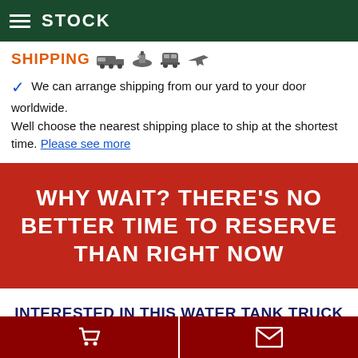STOCK
SHIPPING
We can arrange shipping from our yard to your door worldwide.
Well choose the nearest shipping place to ship at the shortest time. Please see more
WHY WAIT? THERE'S NO BETTER TIME TO RESERVE THAN RIGHT NOW
INTERESTED IN THIS WATER TANK TRUCK 20M3 SINOTRUK-HOWO 4X2